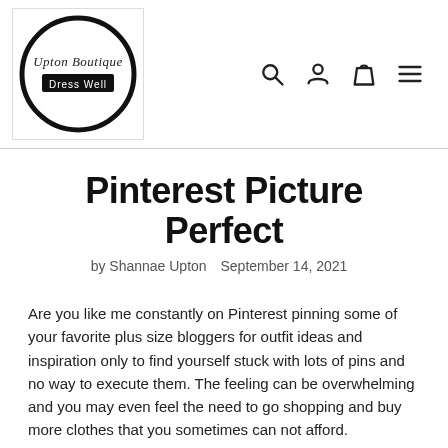[Figure (logo): Upton Boutique logo: a circle with cursive text 'Upton Boutique' and a black banner reading 'Dress Well']
Pinterest Picture Perfect
by Shannae Upton   September 14, 2021
Are you like me constantly on Pinterest pinning some of your favorite plus size bloggers for outfit ideas and inspiration only to find yourself stuck with lots of pins and no way to execute them. The feeling can be overwhelming and you may even feel the need to go shopping and buy more clothes that you sometimes can not afford.